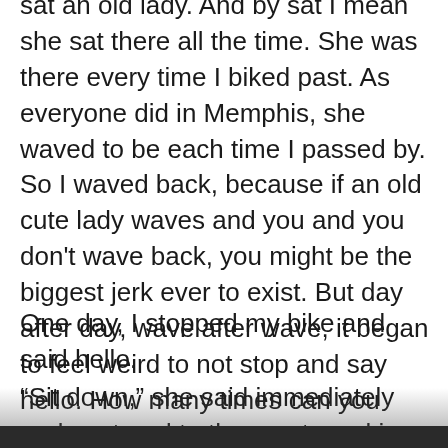sat an old lady. And by sat I mean she sat there all the time. She was there every time I biked past. As everyone did in Memphis, she waved to be each time I passed by. So I waved back, because if an old cute lady waves and you and you don't wave back, you might be the biggest jerk ever to exist. But day after day, wave after wave, it began to feel weird to not stop and say hello. How many times can you wave and not actually speak without it getting awkward?
One day, I stopped my bike and said hello.
“Sit down,” she said immediately and gestured to the empty rocking chair